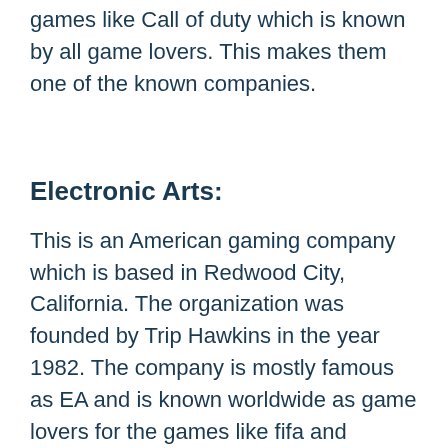games like Call of duty which is known by all game lovers. This makes them one of the known companies.
Electronic Arts:
This is an American gaming company which is based in Redwood City, California. The organization was founded by Trip Hawkins in the year 1982. The company is mostly famous as EA and is known worldwide as game lovers for the games like fifa and